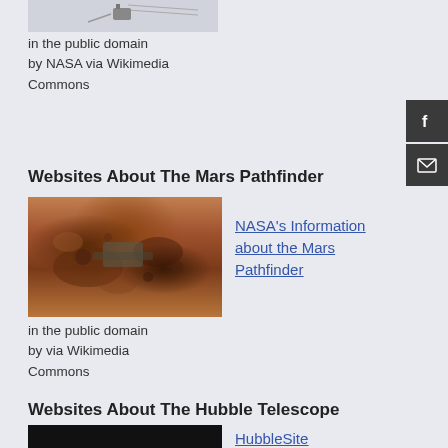in the public domain by NASA via Wikimedia Commons
Websites About The Mars Pathfinder
[Figure (photo): Mars surface photo showing rocks and rover component on reddish-brown terrain]
in the public domain by via Wikimedia Commons
NASA's Information about the Mars Pathfinder
Websites About The Hubble Telescope
[Figure (photo): Hubble Telescope image (dark/black background)]
HubbleSite